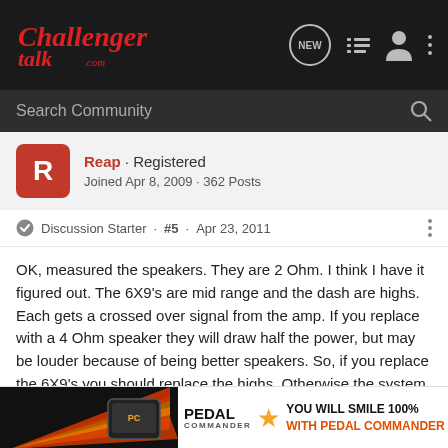[Figure (screenshot): ChallengerTalk.com website header with logo, nav icons]
Search Community
Reap · Registered
Joined Apr 8, 2009 · 362 Posts
Discussion Starter · #5 · Apr 23, 2011
OK, measured the speakers. They are 2 Ohm. I think I have it figured out. The 6X9's are mid range and the dash are highs. Each gets a crossed over signal from the amp. If you replace with a 4 Ohm speaker they will draw half the power, but may be louder because of being better speakers. So, if you replace the 6X9's you should replace the highs. Otherwise the system may sound very unbalanced.
I know G...
[Figure (infographic): Pedal Commander advertisement banner: YOU WILL SMILE 100% WITH PEDAL COMMANDER]